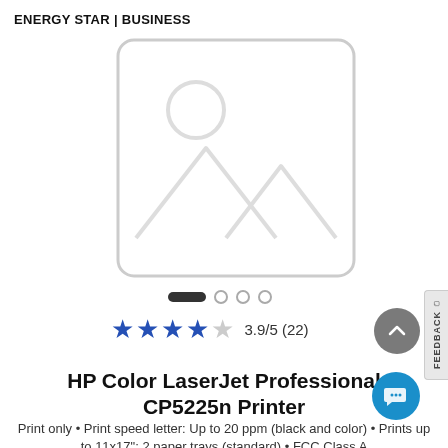ENERGY STAR | BUSINESS
[Figure (photo): Placeholder image with mountain and sun icon inside a rounded rectangle border]
3.9/5 (22)
HP Color LaserJet Professional CP5225n Printer
Print only • Print speed letter: Up to 20 ppm (black and color) • Prints up to 11x17"; 2 paper trays (standard) • FCC Class A